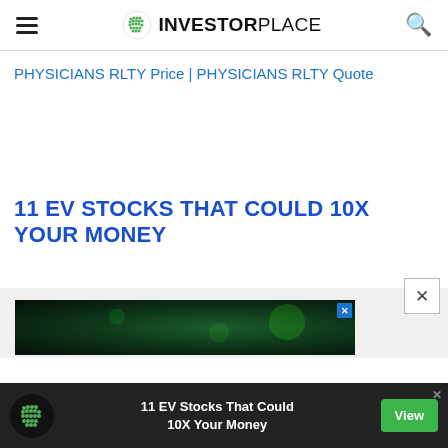INVESTORPLACE
PHYSICIANS RLTY Price | PHYSICIANS RLTY Quote
11 EV STOCKS THAT COULD 10X YOUR MONEY
[Figure (screenshot): Partial view of a popup ad with green glowing background, an X close button overlay]
[Figure (screenshot): Bottom ad bar: InvestorPlace green logo, text '11 EV Stocks That Could 10X Your Money', green View button on dark background]